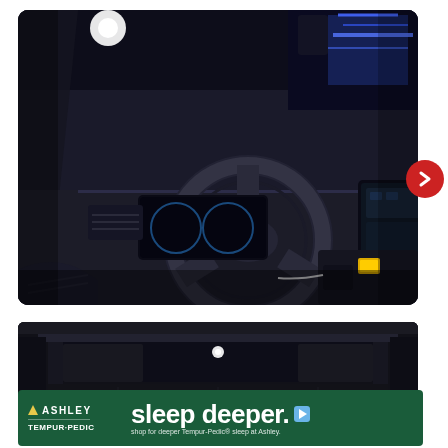[Figure (photo): Car interior photo showing steering wheel, dashboard with digital displays, center console with yellow emergency button, and blue ambient lighting in background. View from driver's side.]
[Figure (photo): Car trunk/cargo area photo showing open tailgate with dark interior cargo space visible from rear.]
[Figure (other): Advertisement banner for Ashley furniture featuring Tempur-Pedic partnership. Text reads: Ashley, sleep deeper, TEMPUR-PEDIC, shop for deeper Tempur-Pedic sleep at Ashley.]